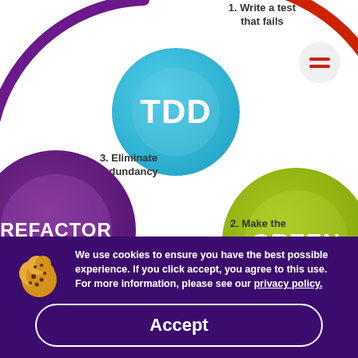[Figure (infographic): TDD (Test-Driven Development) cycle diagram showing three interconnected colored circles: a central teal/blue circle labeled 'TDD', a purple circle on the lower-left labeled 'REFACTOR', and a yellow-green circle on the lower-right labeled 'GREEN'. Red and purple arcs connect the circles. Step labels: '1. Write a test that fails' (top right), '3. Eliminate redundancy' (left middle), '2. Make the' (bottom center-right). A hamburger menu button appears top-right.]
We use cookies to ensure you have the best possible experience. If you click accept, you agree to this use. For more information, please see our privacy policy.
Accept